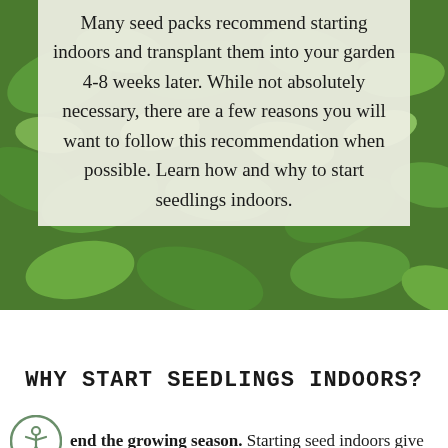[Figure (photo): Background photo of green herb seedlings/leaves filling the top portion of the page]
Many seed packs recommend starting indoors and transplant them into your garden 4-8 weeks later. While not absolutely necessary, there are a few reasons you will want to follow this recommendation when possible. Learn how and why to start seedlings indoors.
WHY START SEEDLINGS INDOORS?
end the growing season. Starting seed indoors give